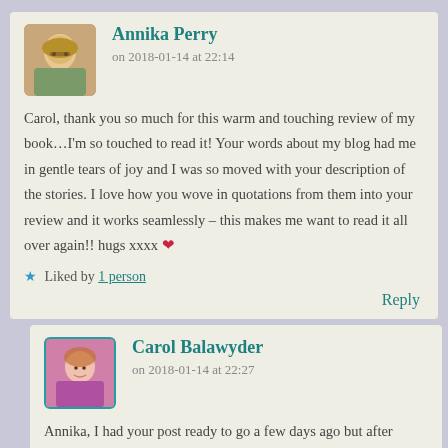Annika Perry
on 2018-01-14 at 22:14
Carol, thank you so much for this warm and touching review of my book…I'm so touched to read it! Your words about my blog had me in gentle tears of joy and I was so moved with your description of the stories. I love how you wove in quotations from them into your review and it works seamlessly – this makes me want to read it all over again!! hugs xxxx ❤
Liked by 1 person
Reply
Carol Balawyder
on 2018-01-14 at 22:27
Annika, I had your post ready to go a few days ago but after reading it again, I felt the ending needed a little…